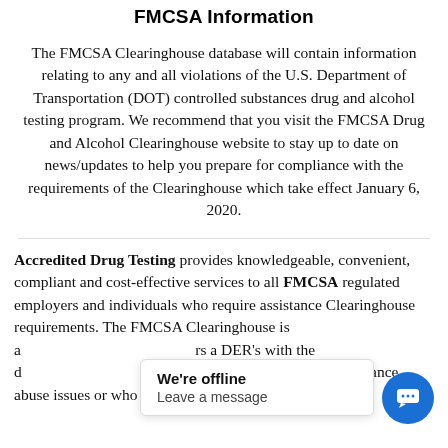FMCSA Information
The FMCSA Clearinghouse database will contain information relating to any and all violations of the U.S. Department of Transportation (DOT) controlled substances drug and alcohol testing program. We recommend that you visit the FMCSA Drug and Alcohol Clearinghouse website to stay up to date on news/updates to help you prepare for compliance with the requirements of the Clearinghouse which take effect January 6, 2020.
Accredited Drug Testing provides knowledgeable, convenient, compliant and cost-effective services to all FMCSA regulated employers and individuals who require assistance Clearinghouse requirements. The FMCSA Clearinghouse is a [...]rs and DER's with the d[...] ivi[...] that do not have a substance abuse issues or who may [...]